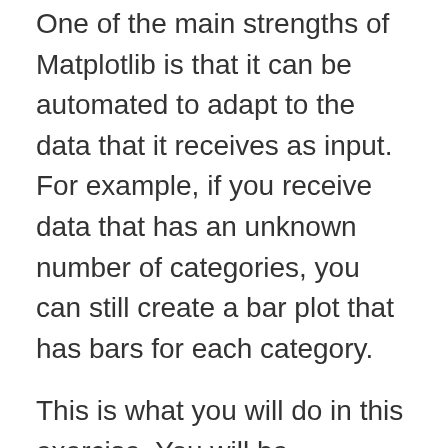One of the main strengths of Matplotlib is that it can be automated to adapt to the data that it receives as input. For example, if you receive data that has an unknown number of categories, you can still create a bar plot that has bars for each category.
This is what you will do in this exercise. You will be visualizing data about medal winners in the 2016 summer Olympic Games again, but this time you will have a dataset that has some unknown number of branches of sports in it. This will be loaded into memory as a Pandas DataFrame object called summer_2016_medals, which has a column called "Sport" that tells you to which branch